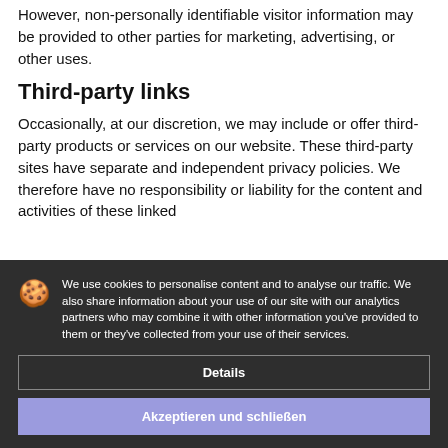However, non-personally identifiable visitor information may be provided to other parties for marketing, advertising, or other uses.
Third-party links
Occasionally, at our discretion, we may include or offer third-party products or services on our website. These third-party sites have separate and independent privacy policies. We therefore have no responsibility or liability for the content and activities of these linked sites. Nonetheless, we seek to protect the integrity of our site and welcome any feedback about these sites.
We have no responsibility or liability for the content and activities of these linked sites. Nonetheless, we seek to protect the integrity of our site and welcome any feedback about these sites. We also use third-party cookies (for example, Google Analytics) and third-party cookies (for example, social media buttons) to inform members about our advertising. We use cookies with our website.
We use cookies to personalise content and to analyse our traffic. We also share information about your use of our site with our analytics partners who may combine it with other information you've provided to them or they've collected from your use of their services.
Details
Akzeptieren und schließen